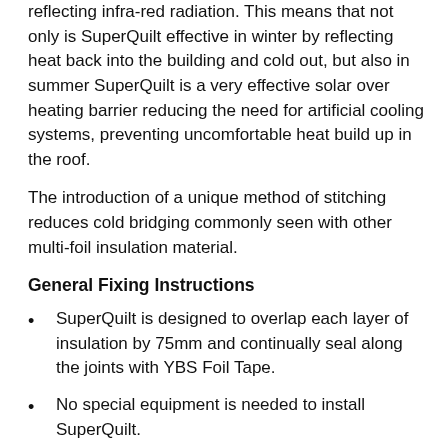reflecting infra-red radiation. This means that not only is SuperQuilt effective in winter by reflecting heat back into the building and cold out, but also in summer SuperQuilt is a very effective solar over heating barrier reducing the need for artificial cooling systems, preventing uncomfortable heat build up in the roof.
The introduction of a unique method of stitching reduces cold bridging commonly seen with other multi-foil insulation material.
General Fixing Instructions
SuperQuilt is designed to overlap each layer of insulation by 75mm and continually seal along the joints with YBS Foil Tape.
No special equipment is needed to install SuperQuilt.